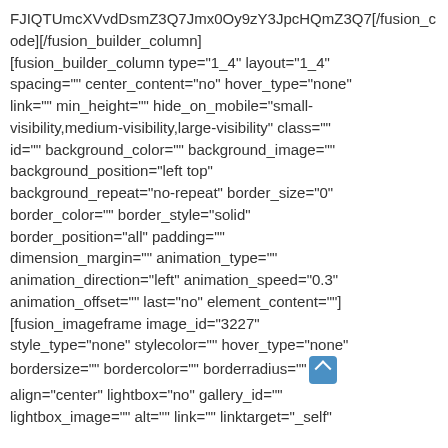FJIQTUmcXVvdDsmZ3Q7Jmx0Oy9zY3JpcHQmZ3Q7[/fusion_code][/fusion_builder_column] [fusion_builder_column type="1_4" layout="1_4" spacing="" center_content="no" hover_type="none" link="" min_height="" hide_on_mobile="small-visibility,medium-visibility,large-visibility" class="" id="" background_color="" background_image="" background_position="left top" background_repeat="no-repeat" border_size="0" border_color="" border_style="solid" border_position="all" padding="" dimension_margin="" animation_type="" animation_direction="left" animation_speed="0.3" animation_offset="" last="no" element_content=""] [fusion_imageframe image_id="3227" style_type="none" stylecolor="" hover_type="none" bordersize="" bordercolor="" borderradius="" align="center" lightbox="no" gallery_id="" lightbox_image="" alt="" link="" linktarget="_self"